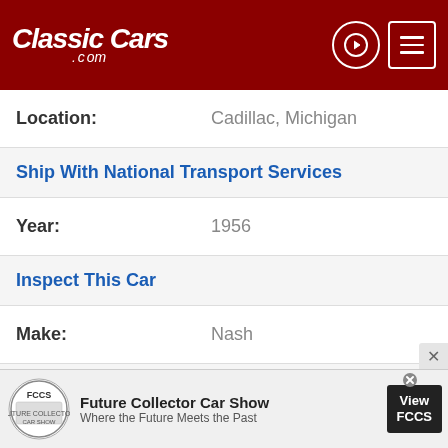[Figure (logo): ClassicCars.com logo in white italic text on dark red header bar with navigation icons]
Location: Cadillac, Michigan
Ship With National Transport Services
| Year: | 1956 |
Inspect This Car
| Make: | Nash |
15% off Advance Auto Parts w/code CLASSICCARS
| Model: | Ambassador |
[Figure (logo): Accessibility icon - black circle with white wheelchair symbol]
[Figure (screenshot): Future Collector Car Show advertisement banner at bottom]
Future Collector Car Show - Where the Future Meets the Past